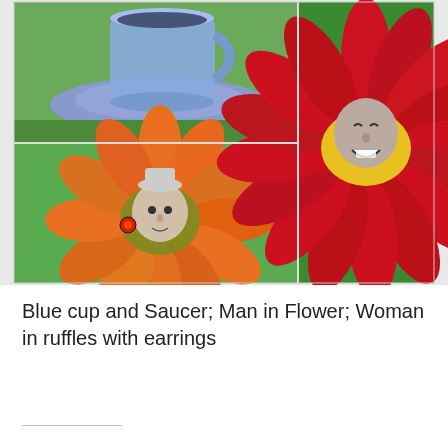[Figure (illustration): Three artwork panels arranged in a grid: top-left shows a blue cup and saucer on a green surface; bottom-left shows a person's face emerging from an orange flower with red earrings on a green background; right panel (tall) shows a smiling person's face in the center of a large red flower with yellow center on a green background.]
Blue cup and Saucer; Man in Flower; Woman in ruffles with earrings